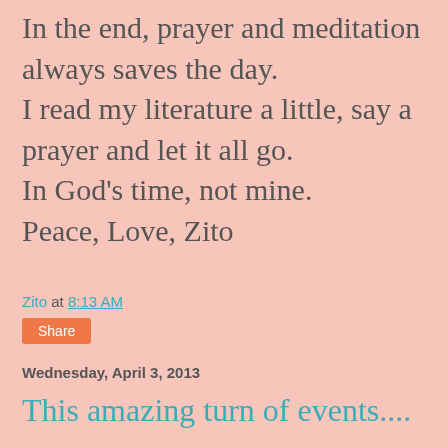In the end, prayer and meditation always saves the day. I read my literature a little, say a prayer and let it all go. In God's time, not mine. Peace, Love, Zito
Zito at 8:13 AM
Share
Wednesday, April 3, 2013
This amazing turn of events....
Recovery cannot be described better